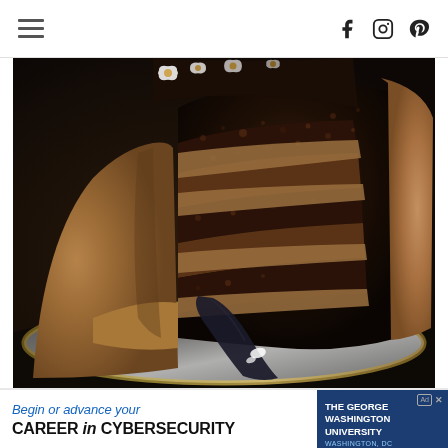Navigation header with hamburger menu and social icons (Facebook, Instagram, Pinterest)
[Figure (photo): Close-up photo of a chocolate layer cake with mocha/chocolate frosting, with a slice being removed showing the dark chocolate cake layers and creamy chocolate mousse filling, on a dark plate against a dark background.]
Coconut Chocolate Cake and Her Dreamy
[Figure (infographic): Advertisement banner: 'Begin or advance your CAREER in CYBERSECURITY' with The George Washington University logo and branding, Washington DC.]